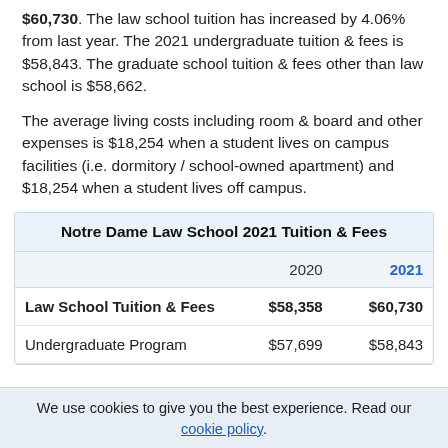$60,730. The law school tuition has increased by 4.06% from last year. The 2021 undergraduate tuition & fees is $58,843. The graduate school tuition & fees other than law school is $58,662.
The average living costs including room & board and other expenses is $18,254 when a student lives on campus facilities (i.e. dormitory / school-owned apartment) and $18,254 when a student lives off campus.
|  | 2020 | 2021 |
| --- | --- | --- |
| Law School Tuition & Fees | $58,358 | $60,730 |
| Undergraduate Program | $57,699 | $58,843 |
We use cookies to give you the best experience. Read our cookie policy.